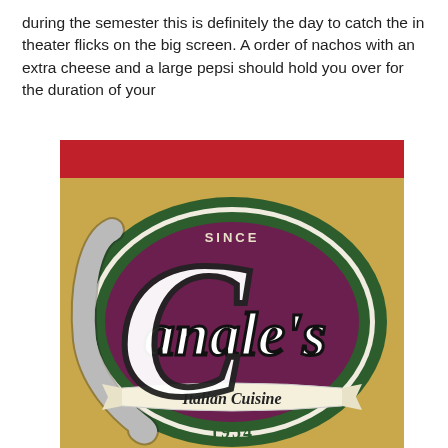during the semester this is definitely the day to catch the in theater flicks on the big screen. A order of nachos with an extra cheese and a large pepsi should hold you over for the duration of your
[Figure (logo): Canale's Italian Cuisine logo — a circular sign with dark green outer ring, deep maroon/purple center, 'SINCE' text at top, large stylized script 'Canale's' lettering in white with dark outline spanning across the circle, a cream/white ribbon banner reading 'Italian Cuisine' across the lower portion, and '1954' at the bottom. The background behind the circle is tan/gold. A red stripe appears at the very top of the image.]